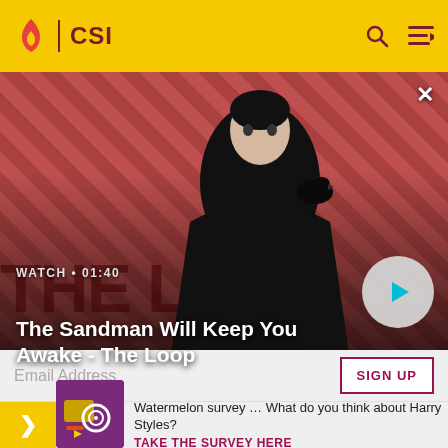CSI
[Figure (screenshot): Hero promotional image for 'The Sandman Will Keep You Awake - The Loop' showing a pale man with a raven on his shoulder against a red diagonal-striped background]
The Sandman Will Keep You Awake - The Loop
WATCH • 01:40
Email Address
SIGN UP
Watermelon survey … What do you think about Harry Styles?
TAKE THE SURVEY HERE